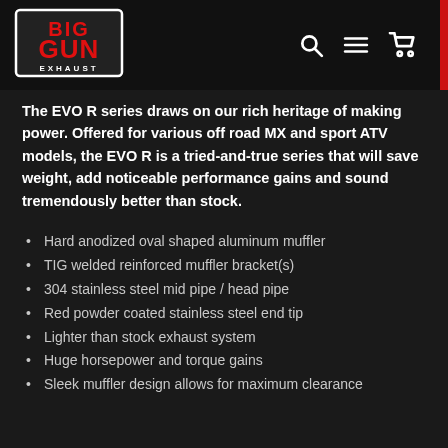[Figure (logo): Big Gun Exhaust logo — red text on black background with white border]
The EVO R series draws on our rich heritage of making power. Offered for various off road MX and sport ATV models, the EVO R is a tried-and-true series that will save weight, add noticeable performance gains and sound tremendously better than stock.
Hard anodized oval shaped aluminum muffler
TIG welded reinforced muffler bracket(s)
304 stainless steel mid pipe / head pipe
Red powder coated stainless steel end tip
Lighter than stock exhaust system
Huge horsepower and torque gains
Sleek muffler design allows for maximum clearance